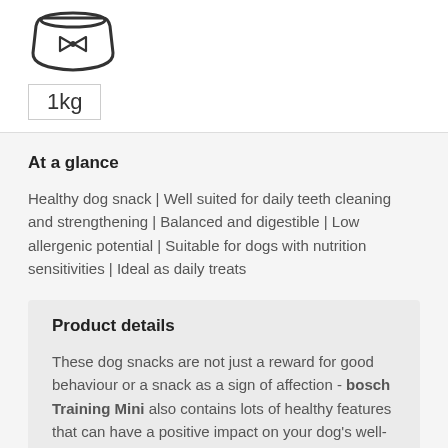[Figure (illustration): Icon of a pet food bowl with a bow tie design on it]
1kg
At a glance
Healthy dog snack | Well suited for daily teeth cleaning and strengthening | Balanced and digestible | Low allergenic potential | Suitable for dogs with nutrition sensitivities | Ideal as daily treats
Product details
These dog snacks are not just a reward for good behaviour or a snack as a sign of affection - bosch Training Mini also contains lots of healthy features that can have a positive impact on your dog's well-being. bosch Training Mini is a small